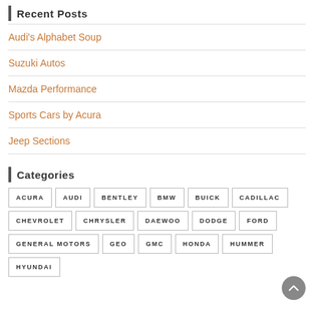Recent Posts
Audi's Alphabet Soup
Suzuki Autos
Mazda Performance
Sports Cars by Acura
Jeep Sections
Categories
ACURA AUDI BENTLEY BMW BUICK CADILLAC CHEVROLET CHRYSLER DAEWOO DODGE FORD GENERAL MOTORS GEO GMC HONDA HUMMER HYUNDAI